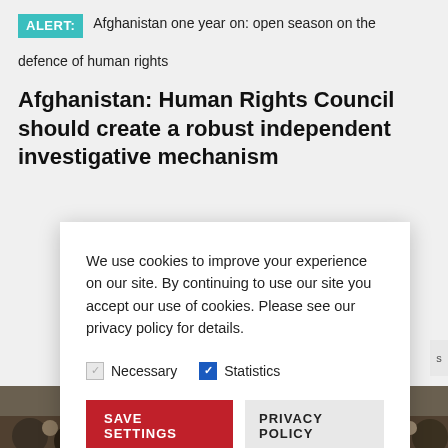ALERT: Afghanistan one year on: open season on the defence of human rights
Afghanistan: Human Rights Council should create a robust independent investigative mechanism
We use cookies to improve your experience on our site. By continuing to use our site you accept our use of cookies. Please see our privacy policy for details.
Necessary  Statistics
SAVE SETTINGS  PRIVACY POLICY
[Figure (photo): Crowd of people, partially visible at bottom of page]